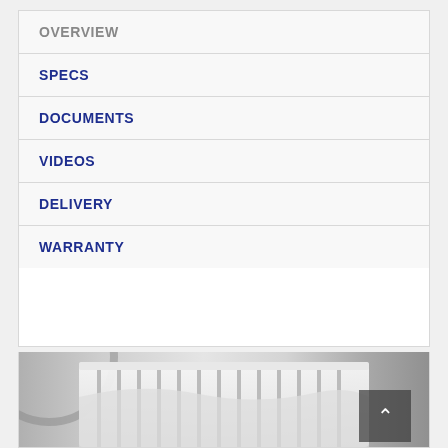OVERVIEW
SPECS
DOCUMENTS
VIDEOS
DELIVERY
WARRANTY
[Figure (photo): Photo of a white dishwasher or washing machine basket/drum rack, partially visible at the bottom of the page, with blurred background.]